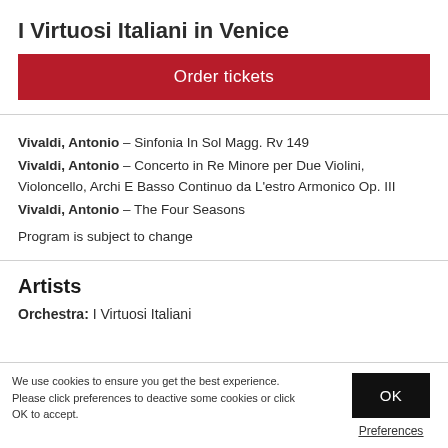I Virtuosi Italiani in Venice
Order tickets
Vivaldi, Antonio – Sinfonia In Sol Magg. Rv 149
Vivaldi, Antonio – Concerto in Re Minore per Due Violini, Violoncello, Archi E Basso Continuo da L'estro Armonico Op. III
Vivaldi, Antonio – The Four Seasons
Program is subject to change
Artists
Orchestra:  I Virtuosi Italiani
We use cookies to ensure you get the best experience. Please click preferences to deactive some cookies or click OK to accept.
OK
Preferences